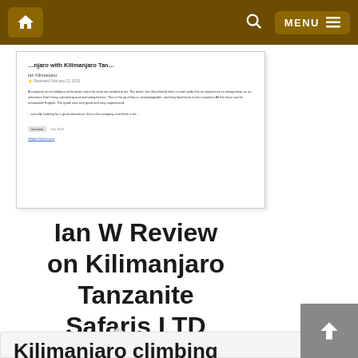Home | Search | MENU
[Figure (screenshot): Screenshot of a review page for Kilimanjaro Tanzanite Safaris LTD on Kilimanjaro Tanzania website, showing review text about company providing good value and great experience, with a tag and a link.]
Ian W Review on Kilimanjaro Tanzanite Safaris LTD
Kilimanjaro climbing